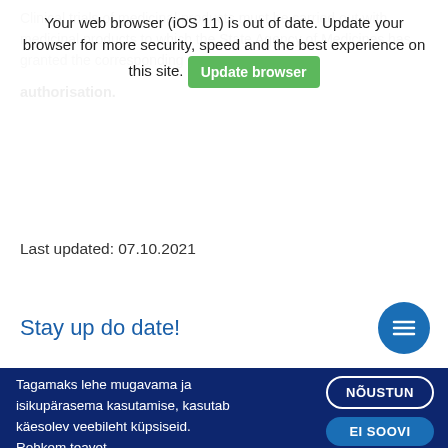Your web browser (iOS 11) is out of date. Update your browser for more security, speed and the best experience on this site. [Update browser]
Clinical trials of medicinal products must be carried out with medicinal products to which the State Agency of Medicines has granted the corresponding authorisation.
Last updated: 07.10.2021
Stay up do date!
Tagamaks lehe mugavama ja isikupärasema kasutamise, kasutab käesolev veebileht küpsiseid. Rohkem teavet
NÕUSTUN
EI SOOVI